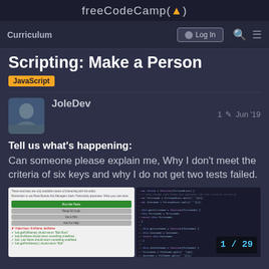freeCodeCamp(🔥)
Curriculum  Log In
Scripting: Make a Person
JavaScript
JoleDev  1 ✏  Jun '19
Tell us what's happening:
Can someone please explain me, Why I don't meet the criteria of six keys and why I do not get two tests failed.
[Figure (screenshot): Screenshot of freeCodeCamp challenge interface showing code editor and test results with one failing test and several passing tests, and a counter showing 1/29]